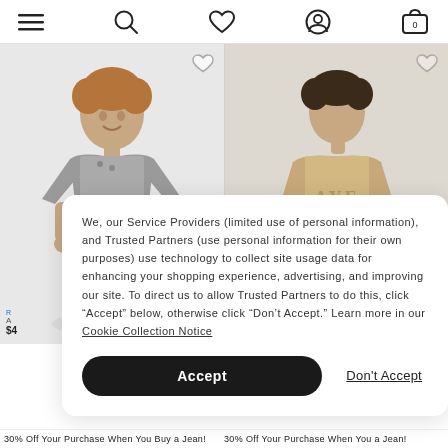Navigation bar with menu, search, heart/wishlist, account, and cart (0) icons
[Figure (photo): Young man wearing a gray short-sleeve henley t-shirt, smiling, on a light background. Heart/wishlist icon in top right corner of card.]
[Figure (photo): Young man wearing a beige AE (American Eagle) long-sleeve sweatshirt and dark blue jeans, standing on a light gray background. Heart/wishlist icon in top right corner of card.]
We, our Service Providers (limited use of personal information), and Trusted Partners (use personal information for their own purposes) use technology to collect site usage data for enhancing your shopping experience, advertising, and improving our site. To direct us to allow Trusted Partners to do this, click “Accept” below, otherwise click “Don’t Accept.” Learn more in our Cookie Collection Notice
Accept
Don't Accept
Chat
R
A
$4
Tech Skinny Jea
30% Off Your Purchase When You Buy a Jean!
30% Off Your Purchase When You a Jean!